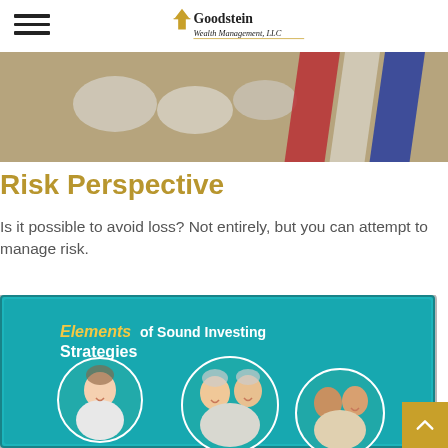Goodstein Wealth Management, LLC
[Figure (photo): Close-up photo of colorful stripes and round objects on a surface, used as decorative banner image]
Risk Perspective
Is it possible to avoid loss? Not entirely, but you can attempt to manage risk.
[Figure (photo): Photo of a tablet displaying a brochure titled 'Elements of Sound Investing Strategies' with circular photos of smiling people of various ages on a teal background]